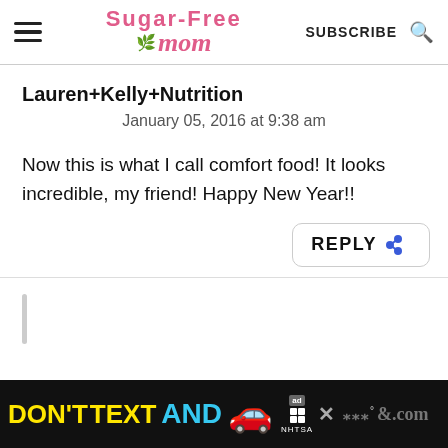Sugar-Free Mom — SUBSCRIBE
Lauren+Kelly+Nutrition
January 05, 2016 at 9:38 am
Now this is what I call comfort food! It looks incredible, my friend! Happy New Year!!
REPLY
[Figure (screenshot): Ad banner at bottom: DON'T TEXT AND [car emoji] with NHTSA logo and close button]